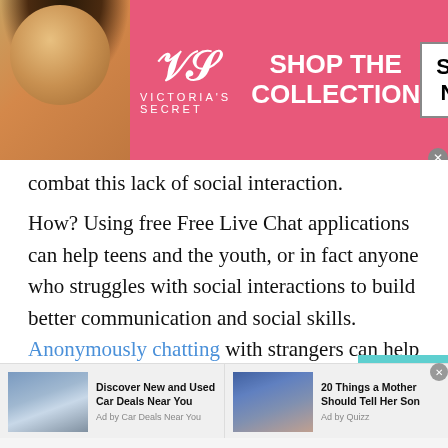[Figure (other): Victoria's Secret advertisement banner with model, VS logo, 'SHOP THE COLLECTION' text, and 'SHOP NOW' button]
combat this lack of social interaction.
How? Using free Free Live Chat applications can help teens and the youth, or in fact anyone who struggles with social interactions to build better communication and social skills. Anonymously chatting with strangers can help you interact without the fear of being judged which helps build stronger social skills that are necessary in today's world. This means by interacting on a digital platform, you can actually improve your face-to-face interactions in the real world.
[Figure (other): Bottom advertisement strip with two ad units: 'Discover New and Used Car Deals Near You' by Car Deals Near You, and '20 Things a Mother Should Tell Her Son' by Quizz]